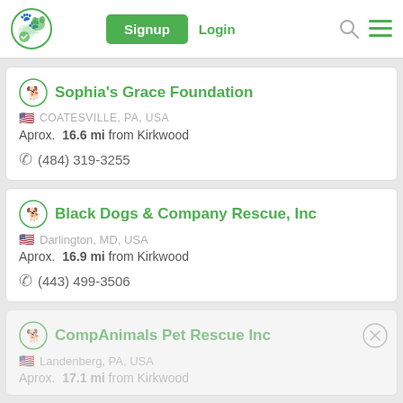Signup | Login
Sophia's Grace Foundation | COATESVILLE, PA, USA | Aprox. 16.6 mi from Kirkwood | (484) 319-3255
Black Dogs & Company Rescue, Inc | Darlington, MD, USA | Aprox. 16.9 mi from Kirkwood | (443) 499-3506
CompAnimals Pet Rescue Inc | Landenberg, PA, USA | Aprox. 17.1 mi from Kirkwood